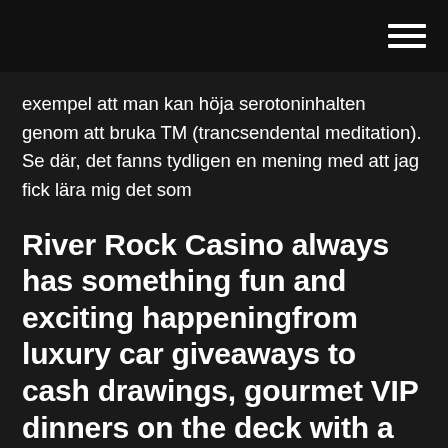[hamburger menu icon]
exempel att man kan höja serotoninhalten genom att bruka TM (trancsendental meditation). Se där, det fanns tydligen en mening med att jag fick lära mig det som
River Rock Casino always has something fun and exciting happeningfrom luxury car giveaways to cash drawings, gourmet VIP dinners on the deck with a view that can't be beat, and of course, more than 1,150 of the latest, greatest slot machines and table games, including guest